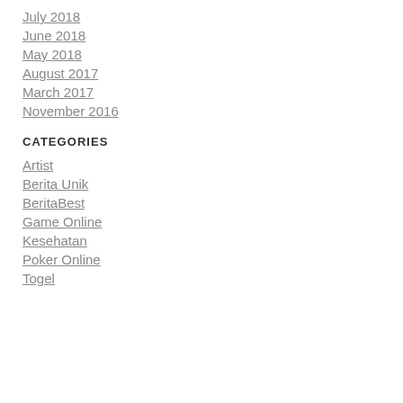July 2018
June 2018
May 2018
August 2017
March 2017
November 2016
CATEGORIES
Artist
Berita Unik
BeritaBest
Game Online
Kesehatan
Poker Online
Togel